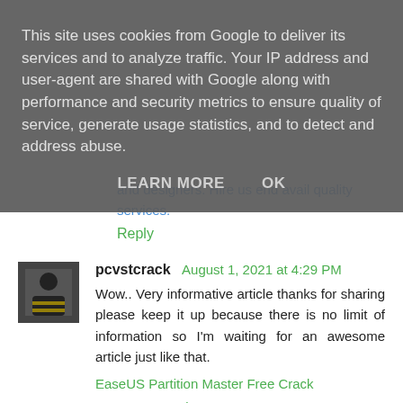This site uses cookies from Google to deliver its services and to analyze traffic. Your IP address and user-agent are shared with Google along with performance and security metrics to ensure quality of service, generate usage statistics, and to detect and address abuse.
LEARN MORE    OK
and designers. Hire us end avail quality services.
Reply
pcvstcrack August 1, 2021 at 4:29 PM
Wow.. Very informative article thanks for sharing please keep it up because there is no limit of information so I'm waiting for an awesome article just like that.
EaseUS Partition Master Free Crack
VuzeVPN Crack
VueScan Crack
AVG Internet Security Crack
Reply